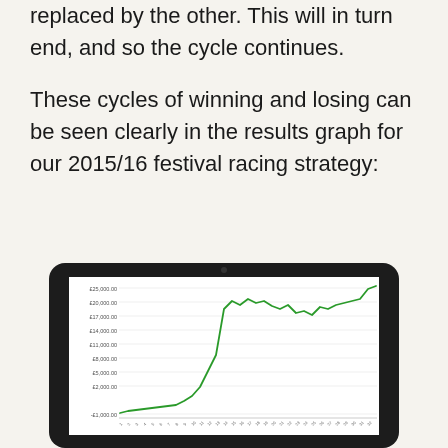replaced by the other. This will in turn end, and so the cycle continues.
These cycles of winning and losing can be seen clearly in the results graph for our 2015/16 festival racing strategy:
[Figure (continuous-plot): Line chart displayed on a tablet screen showing cumulative profit/loss over time for a 2015/16 festival racing strategy. Y-axis labels: -£1,000.00, £2,000.00, £5,000.00, £8,000.00, £11,000.00, £14,000.00, £17,000.00, £20,000.00, £25,000.00. The green line starts near zero, stays flat/low, then rises steeply to around £20,000, fluctuates, then rises sharply to approximately £25,000 at the end.]